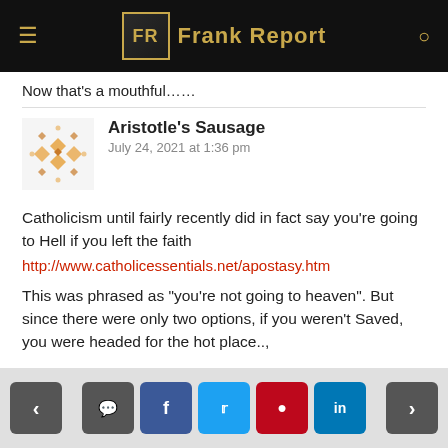Frank Report
Now that’s a mouthful......
Aristotle’s Sausage
July 24, 2021 at 1:36 pm
Catholicism until fairly recently did in fact say you’re going to Hell if you left the faith http://www.catholicessentials.net/apostasy.htm
This was phrased as “you’re not going to heaven”. But since there were only two options, if you weren’t Saved, you were headed for the hot place..,
Navigation and social share buttons